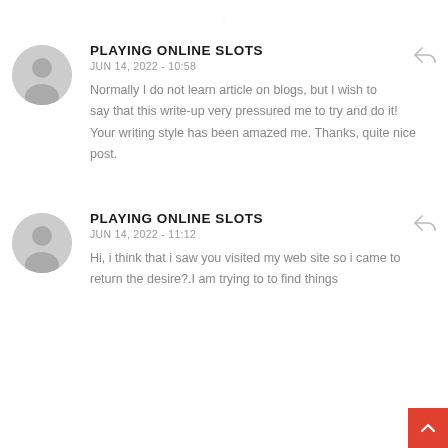PLAYING ONLINE SLOTS
JUN 14, 2022 - 10:58
Normally I do not learn article on blogs, but I wish to say that this write-up very pressured me to try and do it! Your writing style has been amazed me. Thanks, quite nice post.
PLAYING ONLINE SLOTS
JUN 14, 2022 - 11:12
Hi, i think that i saw you visited my web site so i came to return the desire?.I am trying to to find things